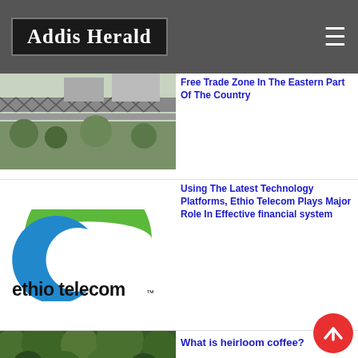Addis Herald
[Figure (photo): Photo of a bridge or overpass structure with lattice railing, trees visible]
Free Trade Zone In The Eastern Part Of The Country
[Figure (logo): Ethio Telecom logo — green and blue wave/arc shape above 'ethio telecom' text in bold black]
Using The Latest Technology Platforms, Ethio Telecom Plays Major Role In Effective financial system
[Figure (photo): Forest/nature scene with dense green trees]
What is heirloom coffee?